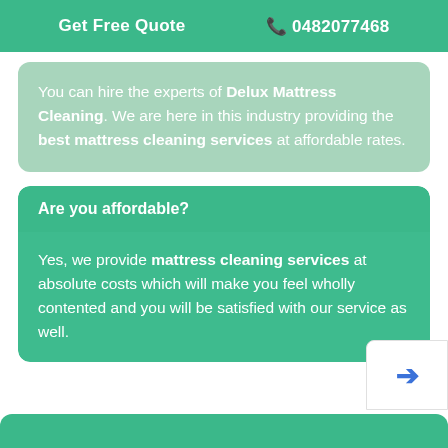Get Free Quote  📞 0482077468
You can hire the experts of Delux Mattress Cleaning. We are here in this industry providing the best mattress cleaning services at affordable rates.
Are you affordable?
Yes, we provide mattress cleaning services at absolute costs which will make you feel wholly contented and you will be satisfied with our service as well.